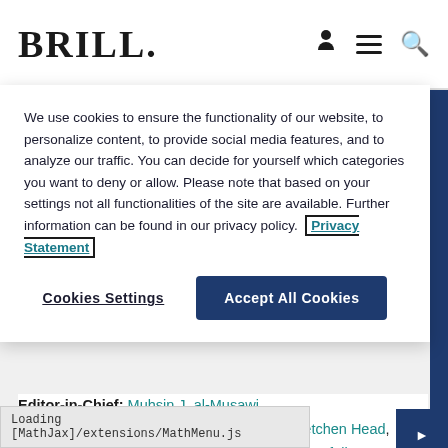BRILL
We use cookies to ensure the functionality of our website, to personalize content, to provide social media features, and to analyze our traffic. You can decide for yourself which categories you want to deny or allow. Please note that based on your settings not all functionalities of the site are available. Further information can be found in our privacy policy. Privacy Statement
Cookies Settings
Accept All Cookies
Editor-in-Chief: Muhsin J. al-Musawi
Associate Editors: Anna Ziajka Stanton, Gretchen Head, Rebecca C Johnson, Nizar Hermes, and Bilal Orfali
The Journal of Arabic Literature (JAL) is the leading journal specializing in the study of Arabic literature, ranging from the pre-Islamic period to the present.
ally and theoretically
Loading [MathJax]/extensions/MathMenu.js